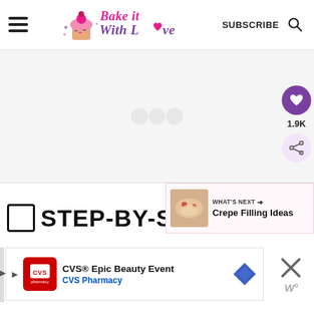Bake it With Love — SUBSCRIBE
[Figure (screenshot): Main content image area (blank/placeholder) with social share buttons: heart icon (purple circle) and share icon, count 1.9K]
📷 STEP-BY-STEP
[Figure (infographic): What's Next: Crepe Filling Ideas promotional overlay with food thumbnail]
[Figure (screenshot): CVS® Epic Beauty Event advertisement banner — CVS Pharmacy]